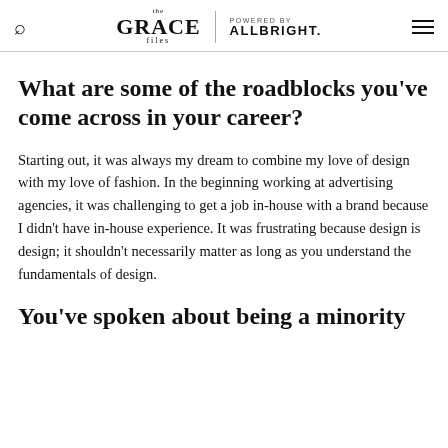the GRACE files | POWERED BY ALLBRIGHT.
What are some of the roadblocks you've come across in your career?
Starting out, it was always my dream to combine my love of design with my love of fashion. In the beginning working at advertising agencies, it was challenging to get a job in-house with a brand because I didn't have in-house experience. It was frustrating because design is design; it shouldn't necessarily matter as long as you understand the fundamentals of design.
You've spoken about being a minority